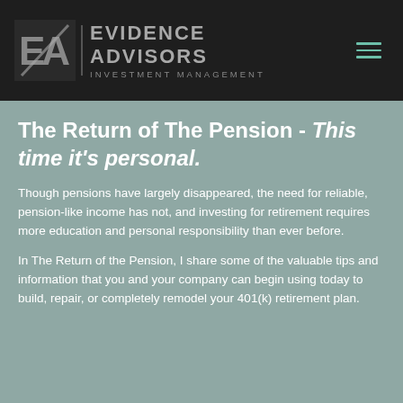[Figure (logo): Evidence Advisors Investment Management logo with stylized EA monogram on dark background header]
The Return of The Pension - This time it's personal.
Though pensions have largely disappeared, the need for reliable, pension-like income has not, and investing for retirement requires more education and personal responsibility than ever before.
In The Return of the Pension, I share some of the valuable tips and information that you and your company can begin using today to build, repair, or completely remodel your 401(k) retirement plan.